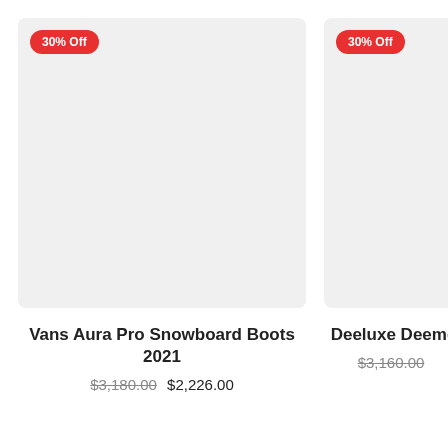[Figure (photo): Product image placeholder for Vans Aura Pro Snowboard Boots 2021, light gray rectangle with 30% Off badge]
Vans Aura Pro Snowboard Boots 2021
$3,180.00  $2,226.00
[Figure (photo): Product image placeholder for Deeluxe Deemo (partial), light gray rectangle with 30% Off badge]
Deeluxe Deemo
$3,160.00